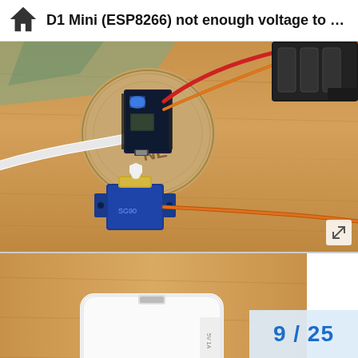D1 Mini (ESP8266) not enough voltage to power ...
[Figure (photo): Photo of a D1 Mini (ESP8266) microcontroller board on a cork coaster on a wooden desk, connected via USB white cable, with an orange-brown servo wire going off to the right toward a battery pack. A small blue servo motor with a white horn sits in the foreground on the desk.]
[Figure (photo): Partial photo of a white USB power adapter/charger on a wooden surface, seen from above. A page counter overlay shows 9 / 25.]